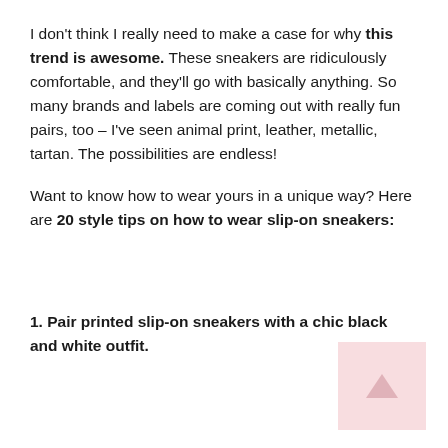I don't think I really need to make a case for why this trend is awesome. These sneakers are ridiculously comfortable, and they'll go with basically anything. So many brands and labels are coming out with really fun pairs, too – I've seen animal print, leather, metallic, tartan. The possibilities are endless!
Want to know how to wear yours in a unique way? Here are 20 style tips on how to wear slip-on sneakers:
1. Pair printed slip-on sneakers with a chic black and white outfit.
[Figure (other): Small pink/rose thumbnail image placeholder in bottom-right corner]